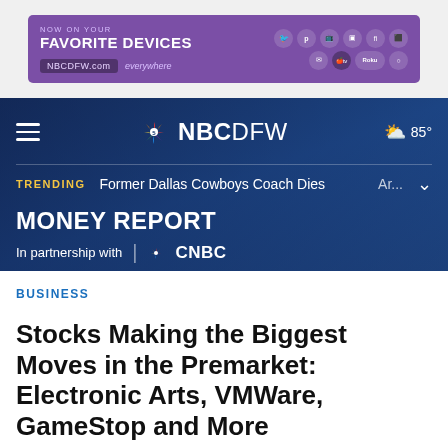[Figure (screenshot): Purple advertisement banner: NOW ON YOUR FAVORITE DEVICES, NBCDFW.com/everywhere, with social media and streaming platform icons]
[Figure (screenshot): NBC 5 DFW navigation bar with hamburger menu, NBC peacock logo, NBCDFW branding, weather showing 85 degrees, and trending news ticker: Former Dallas Cowboys Coach Dies, Ar...]
MONEY REPORT
In partnership with CNBC
BUSINESS
Stocks Making the Biggest Moves in the Premarket: Electronic Arts, VMWare, GameStop and More